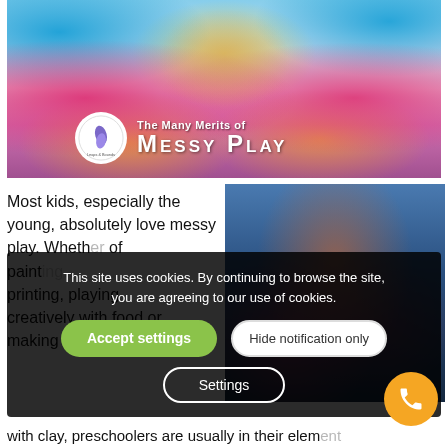[Figure (photo): Child with colorful paint on hands and face, holding up both hands showing pink, blue, and yellow paint, smiling at camera. Overlay text reads 'The Many Merits of Messy Play' with a Leaps & Bounds Day Nursery logo.]
Most kids, especially the young, absolutely love messy play. Whether finger painting, leaf printing, playing creatively with food or making masterpieces
[Figure (photo): Child playing with paint/colors, dark background overlay with cookie consent notification.]
This site uses cookies. By continuing to browse the site, you are agreeing to our use of cookies.
Accept settings
Hide notification only
Settings
with clay, preschoolers are usually in their element